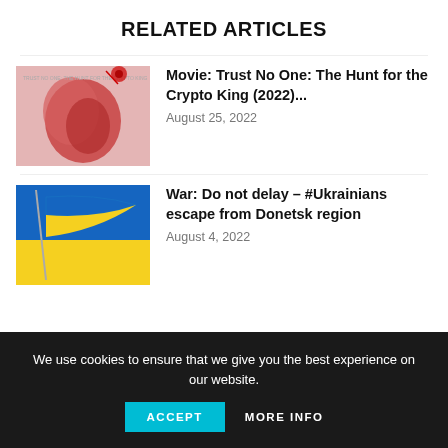RELATED ARTICLES
[Figure (photo): Abstract red and pink image, possibly a movie poster for Trust No One: The Hunt for the Crypto King (2022)]
Movie: Trust No One: The Hunt for the Crypto King (2022)...
August 25, 2022
[Figure (photo): Ukrainian flag waving against a blue sky]
War: Do not delay – #Ukrainians escape from Donetsk region
August 4, 2022
We use cookies to ensure that we give you the best experience on our website.
ACCEPT
MORE INFO